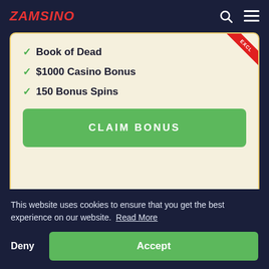ZAMSINO
Book of Dead
$1000 Casino Bonus
150 Bonus Spins
CLAIM BONUS
20 No Deposit Spins
Book of Vikings
$100 Casino Bonus
70 Extra Spins
This website uses cookies to ensure that you get the best experience on our website. Read More
Deny
Accept